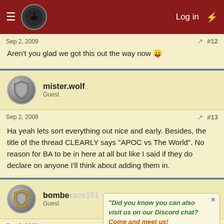Log in
Sep 2, 2009  #12
Aren't you glad we got this out the way now 😛
mister.wolf
Guest
Sep 2, 2009  #13
Ha yeah lets sort everything out nice and early. Besides, the title of the thread CLEARLY says "APOC vs The World". No reason for BA to be in here at all but like I said if they do declare on anyone I'll think about adding them in.
bombe race101
Guest
Sep 2, 2009  #14
Did you know you can also visit us on our Discord chat? Come and meet us!